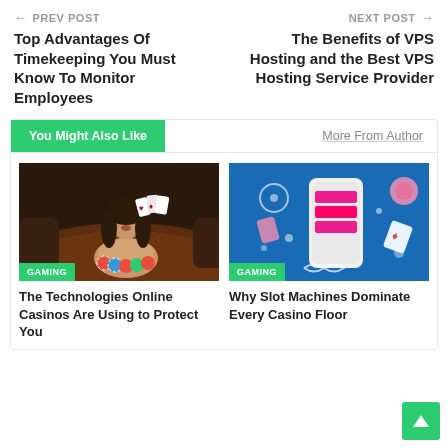← PREV POST
Top Advantages Of Timekeeping You Must Know To Monitor Employees
NEXT POST →
The Benefits of VPS Hosting and the Best VPS Hosting Service Provider
You Might Also Like
More From Author
[Figure (photo): Woman at casino table holding playing cards with gambling chips in front of her, with GAMING badge overlay]
GAMING
The Technologies Online Casinos Are Using to Protect You
[Figure (photo): Blue background with illustrated smartphone and casino/gaming icons floating around it, with GAMING badge overlay]
GAMING
Why Slot Machines Dominate Every Casino Floor